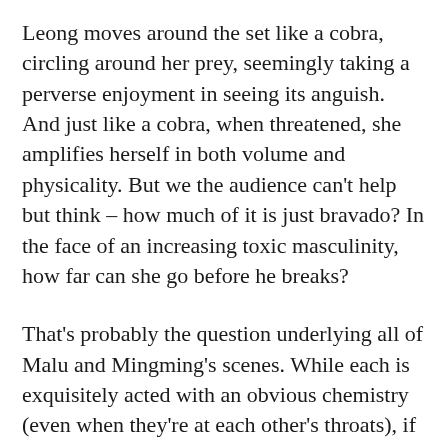Leong moves around the set like a cobra, circling around her prey, seemingly taking a perverse enjoyment in seeing its anguish. And just like a cobra, when threatened, she amplifies herself in both volume and physicality. But we the audience can't help but think – how much of it is just bravado? In the face of an increasing toxic masculinity, how far can she go before he breaks?
That's probably the question underlying all of Malu and Mingming's scenes. While each is exquisitely acted with an obvious chemistry (even when they're at each other's throats), if there's one criticism with the direction, it's that these scenes all tended to follow the same path, with the same energy and character dynamics. No matter how